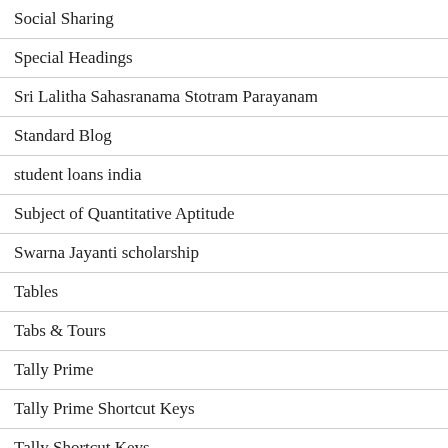Social Sharing
Special Headings
Sri Lalitha Sahasranama Stotram Parayanam
Standard Blog
student loans india
Subject of Quantitative Aptitude
Swarna Jayanti scholarship
Tables
Tabs & Tours
Tally Prime
Tally Prime Shortcut Keys
Tally Shortcut Keys
tata nexon electric
Team
Tesla India Motors and Energy Private Limited